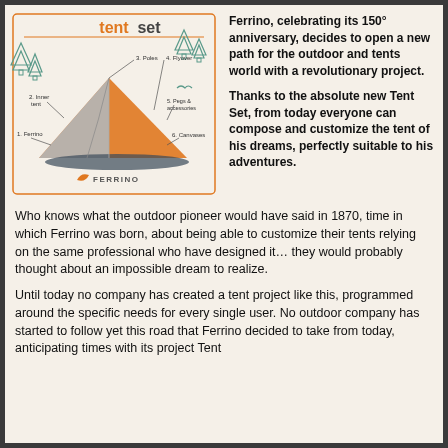[Figure (infographic): Ferrino tentset infographic showing a tent with labeled components: 3. Poles, 4. Flyover, 2. Inner tent, 5. Pegs & accessories, 1. Ferrino (brand), 6. Canvases. Trees and nature icons surround the tent. Ferrino logo at bottom.]
Ferrino, celebrating its 150° anniversary, decides to open a new path for the outdoor and tents world with a revolutionary project.

Thanks to the absolute new Tent Set, from today everyone can compose and customize the tent of his dreams, perfectly suitable to his adventures.
Who knows what the outdoor pioneer would have said in 1870, time in which Ferrino was born, about being able to customize their tents relying on the same professional who have designed it… they would probably thought about an impossible dream to realize.
Until today no company has created a tent project like this, programmed around the specific needs for every single user. No outdoor company has started to follow yet this road that Ferrino decided to take from today, anticipating times with its project Tent